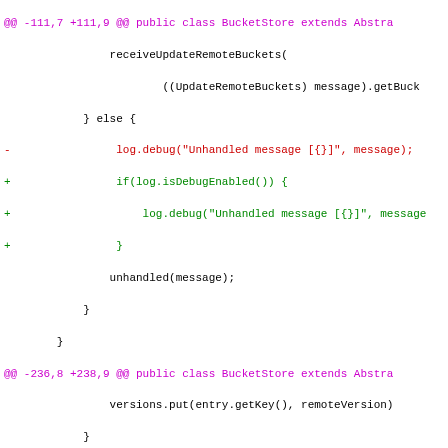[Figure (screenshot): Git diff code view showing changes to BucketStore and Gossiper Java classes, with added/removed lines highlighted in green/red, and diff headers in magenta. Bottom section shows a new diff block with file paths as blue links.]